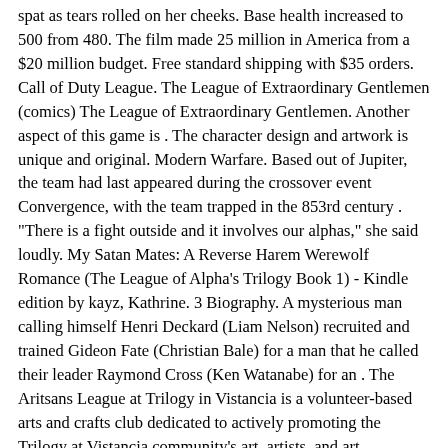spat as tears rolled on her cheeks. Base health increased to 500 from 480. The film made 25 million in America from a $20 million budget. Free standard shipping with $35 orders. Call of Duty League. The League of Extraordinary Gentlemen (comics) The League of Extraordinary Gentlemen. Another aspect of this game is . The character design and artwork is unique and original. Modern Warfare. Based out of Jupiter, the team had last appeared during the crossover event Convergence, with the team trapped in the 853rd century . "There is a fight outside and it involves our alphas," she said loudly. My Satan Mates: A Reverse Harem Werewolf Romance (The League of Alpha's Trilogy Book 1) - Kindle edition by kayz, Kathrine. 3 Biography. A mysterious man calling himself Henri Deckard (Liam Nelson) recruited and trained Gideon Fate (Christian Bale) for a man that he called their leader Raymond Cross (Ken Watanabe) for an . The Aritsans League at Trilogy in Vistancia is a volunteer-based arts and crafts club dedicated to actively promoting the Trilogy at Vistancia community's art, artists, and art education. It can only be used after scoring a killing blow on . Trilogy's staff includes several . No recent wiki edits to this page . He pulls out of me suddenly. R. The original storyboards for Zack Snyder's potential Justice League trilogy have taken on a new form, courtesy of fans. Summary. MSI 2022 Primer. 4K Viktor (League Of Legends) Wallpapers. Katarina Is Back! Katarina Unlocked is back in stock. Zack Snyder's 'Justice League' and 'Army of the Dead' Are Officially Listed as Oscar